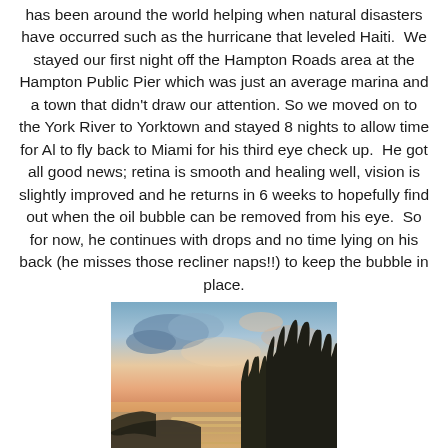has been around the world helping when natural disasters have occurred such as the hurricane that leveled Haiti.  We stayed our first night off the Hampton Roads area at the Hampton Public Pier which was just an average marina and a town that didn't draw our attention. So we moved on to the York River to Yorktown and stayed 8 nights to allow time for Al to fly back to Miami for his third eye check up.  He got all good news; retina is smooth and healing well, vision is slightly improved and he returns in 6 weeks to hopefully find out when the oil bubble can be removed from his eye.  So for now, he continues with drops and no time lying on his back (he misses those recliner naps!!) to keep the bubble in place.
[Figure (photo): Sunset landscape photo showing a calm river or lake with tree silhouettes on the right side and a colorful sky with pink and blue tones reflected in the water]